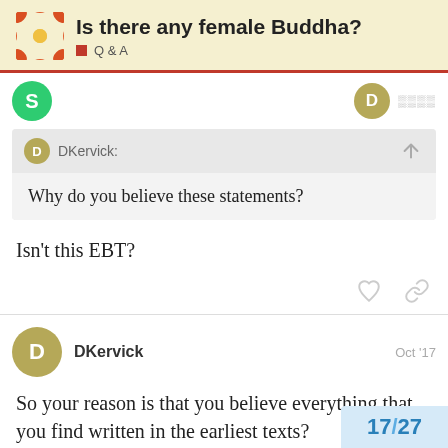Is there any female Buddha? Q & A
DKervick: Why do you believe these statements?
Isn't this EBT?
DKervick Oct '17
So your reason is that you believe everything that you find written in the earliest texts?
17 / 27